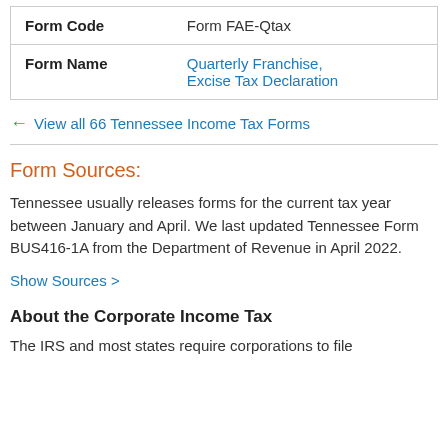|  |  |
| --- | --- |
| Form Code | Form FAE-Qtax |
| Form Name | Quarterly Franchise, Excise Tax Declaration |
← View all 66 Tennessee Income Tax Forms
Form Sources:
Tennessee usually releases forms for the current tax year between January and April. We last updated Tennessee Form BUS416-1A from the Department of Revenue in April 2022.
Show Sources >
About the Corporate Income Tax
The IRS and most states require corporations to file